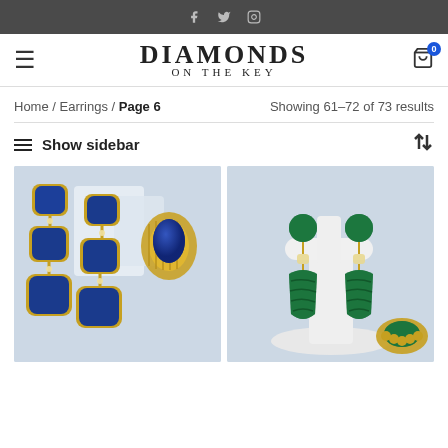Social icons: Facebook, Twitter, Instagram
DIAMONDS ON THE KEY
Home / Earrings / Page 6    Showing 61–72 of 73 results
≡ Show sidebar  ↑↓
[Figure (photo): Blue lapis lazuli gemstone earrings and ring in gold settings displayed on clear acrylic stand]
[Figure (photo): Green malachite teardrop earrings on white jewelry display stand with matching ring]